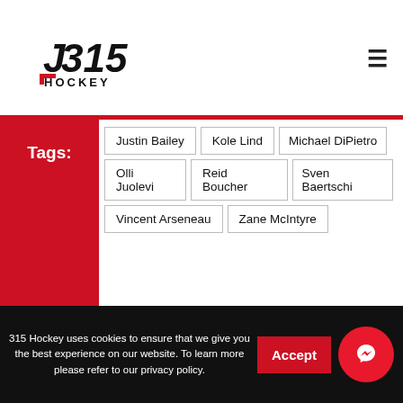[Figure (logo): J315 Hockey logo with stylized text and hockey stick]
≡
Tags:
Justin Bailey
Kole Lind
Michael DiPietro
Olli Juolevi
Reid Boucher
Sven Baertschi
Vincent Arseneau
Zane McIntyre
You can share this post!
Tweet
315 Hockey uses cookies to ensure that we give you the best experience on our website. To learn more please refer to our privacy policy.
Accept